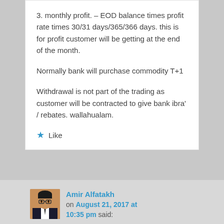3. monthly profit. – EOD balance times profit rate times 30/31 days/365/366 days. this is for profit customer will be getting at the end of the month.
Normally bank will purchase commodity T+1
Withdrawal is not part of the trading as customer will be contracted to give bank ibra' / rebates. wallahualam.
Like
[Figure (photo): Profile photo of Amir Alfatakh, a man with glasses wearing a suit]
Amir Alfatakh on August 21, 2017 at 10:35 pm said: